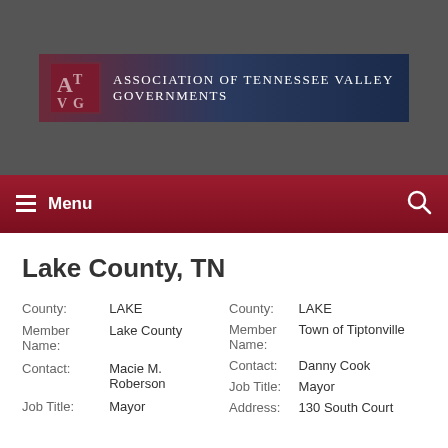[Figure (logo): Association of Tennessee Valley Governments logo banner with dark blue/maroon background and ATVG logo mark]
Menu
Lake County, TN
| County: | LAKE | County: | LAKE |
| Member Name: | Lake County | Member Name: | Town of Tiptonville |
| Contact: | Macie M. Roberson | Contact: | Danny Cook |
| Job Title: | Mayor | Job Title: | Mayor |
| Address: |  | Address: | 130 South Court |